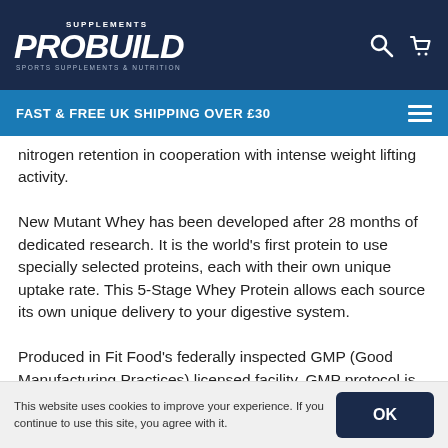SUPPLEMENTS PROBUILD SPORTS SUPPLEMENTS & NUTRITION
FAST & FREE UK SHIPPING OVER £30
nitrogen retention in cooperation with intense weight lifting activity. New Mutant Whey has been developed after 28 months of dedicated research. It is the world's first protein to use specially selected proteins, each with their own unique uptake rate. This 5-Stage Whey Protein allows each source its own unique delivery to your digestive system. Produced in Fit Food's federally inspected GMP (Good Manufacturing Practices) licensed facility. GMP protocol is utilized in food, pharmaceutical and medical device manufacturing. This guarantees you the finest quality
This website uses cookies to improve your experience. If you continue to use this site, you agree with it.